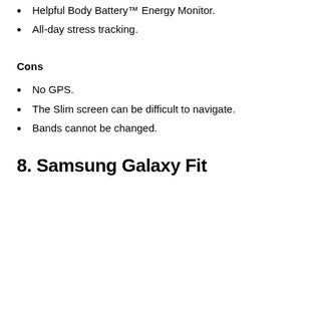Helpful Body Battery™ Energy Monitor.
All-day stress tracking.
Cons
No GPS.
The Slim screen can be difficult to navigate.
Bands cannot be changed.
8. Samsung Galaxy Fit